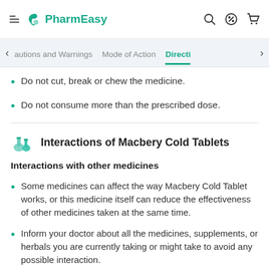PharmEasy
Do not cut, break or chew the medicine.
Do not consume more than the prescribed dose.
Interactions of Macbery Cold Tablets
Interactions with other medicines
Some medicines can affect the way Macbery Cold Tablet works, or this medicine itself can reduce the effectiveness of other medicines taken at the same time.
Inform your doctor about all the medicines, supplements, or herbals you are currently taking or might take to avoid any possible interaction.
Particular care should be taken if you are taking medicines